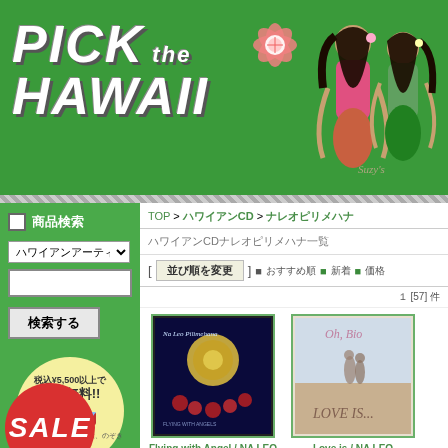[Figure (logo): Pick the Hawaii logo with hula girl illustrations on green background]
商品検索
ハワイCD ドロップダウン選択
検索する
[Figure (infographic): 税込¥5,500以上で送料無料!! ¥0 truck icon badge]
TOP > ハワイアンCD > ナレオピリメハナ
ハワイアンCDナレオピリメハナ一覧
[ 並び順を変更 ] ■おすすめ順 ■新着 ■価格
1 [57] 件
[Figure (photo): Flying with Angel / NA LEO PILIMEHANA album cover - dark blue with moon and roses]
Flying with Angel / NA LEO PILIMEHANA
4,180円(税込)
SOLD OUT
[Figure (photo): Love is / NA LEO PILIMEHANA album cover - couple on beach]
Love is / NA LEO PILIMEHANA
4,180円(税込)
詳しく見る
[Figure (illustration): SALE red circle badge]